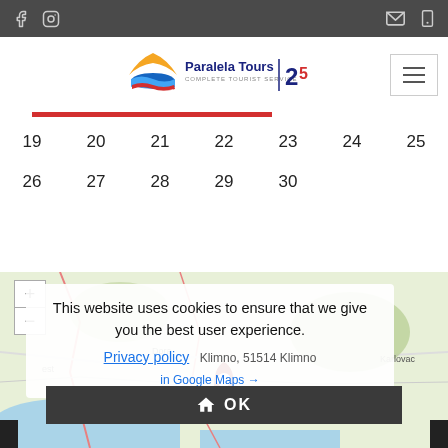Paralela Tours - Complete Tourist Service
[Figure (screenshot): Website screenshot showing Paralela Tours header with social media icons, logo, navigation, calendar grid with dates 19-30, a map with cookie consent popup and OK button]
| 19 | 20 | 21 | 22 | 23 | 24 | 25 |
| 26 | 27 | 28 | 29 | 30 |  |  |
This website uses cookies to ensure that we give you the best user experience.
Privacy policy
Klimno, 51514 Klimno
View larger map in Google Maps →
OK